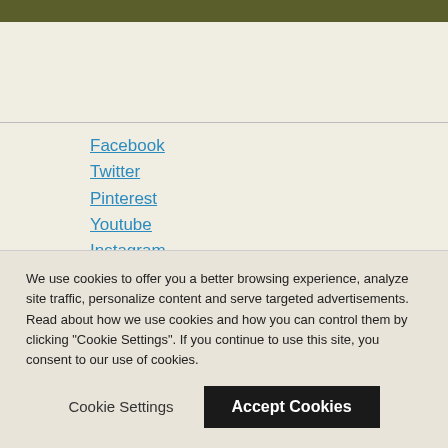Facebook
Twitter
Pinterest
Youtube
Instagram
PLAN YOUR STAY
[Figure (photo): Thumbnail image of Worldmark Hunt Stablewood Springs Resort showing a pool area]
Worldmark Hunt Stablewood Springs Resort
We use cookies to offer you a better browsing experience, analyze site traffic, personalize content and serve targeted advertisements. Read about how we use cookies and how you can control them by clicking "Cookie Settings". If you continue to use this site, you consent to our use of cookies.
Cookie Settings   Accept Cookies